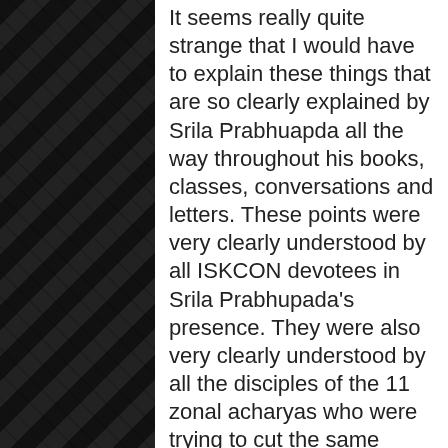It seems really quite strange that I would have to explain these things that are so clearly explained by Srila Prabhuapda all the way throughout his books, classes, conversations and letters. These points were very clearly understood by all ISKCON devotees in Srila Prabhupada's presence. They were also very clearly understood by all the disciples of the 11 zonal acharyas who were trying to cut the same profile as Srila Prabhuapda, but when they failed dismally the GBC decided to change the philosophy. They rejected Krishna's philosophy from the Gita and concocted their own new philosophy saying that there is no need for the guru to be liberated… This new bogus philosophy was introduced into